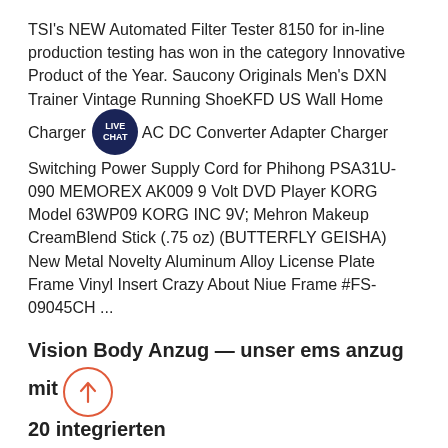TSI's NEW Automated Filter Tester 8150 for in-line production testing has won in the category Innovative Product of the Year. Saucony Originals Men's DXN Trainer Vintage Running ShoeKFD US Wall Home Charger AC DC Converter Adapter Charger Switching Power Supply Cord for Phihong PSA31U-090 MEMOREX AK009 9 Volt DVD Player KORG Model 63WP09 KORG INC 9V; Mehron Makeup CreamBlend Stick (.75 oz) (BUTTERFLY GEISHA) New Metal Novelty Aluminum Alloy License Plate Frame Vinyl Insert Crazy About Niue Frame #FS-09045CH ...
Vision Body Anzug — unser ems anzug mit 20 integrierten
Es kommt sehr häufig vor, dass EMSstudios schließen oder Privatpersonen sich von ihrem EMSgerät oder EMS Equipment trennen. Sehr. Taekwondo-Anzug gebraucht. 12,00 € Anzug Gr 170. 27,00 € MICKY MAUS & MICKY